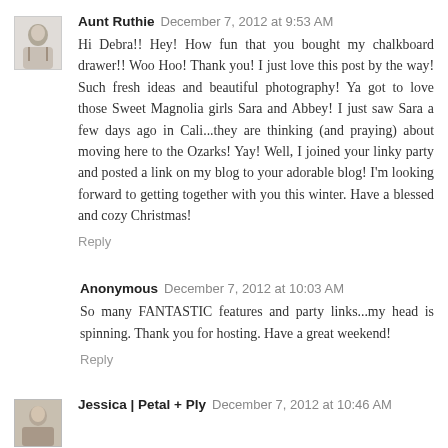Aunt Ruthie  December 7, 2012 at 9:53 AM
Hi Debra!! Hey! How fun that you bought my chalkboard drawer!! Woo Hoo! Thank you! I just love this post by the way! Such fresh ideas and beautiful photography! Ya got to love those Sweet Magnolia girls Sara and Abbey! I just saw Sara a few days ago in Cali...they are thinking (and praying) about moving here to the Ozarks! Yay! Well, I joined your linky party and posted a link on my blog to your adorable blog! I'm looking forward to getting together with you this winter. Have a blessed and cozy Christmas!
Reply
Anonymous  December 7, 2012 at 10:03 AM
So many FANTASTIC features and party links...my head is spinning. Thank you for hosting. Have a great weekend!
Reply
Jessica | Petal + Ply  December 7, 2012 at 10:46 AM